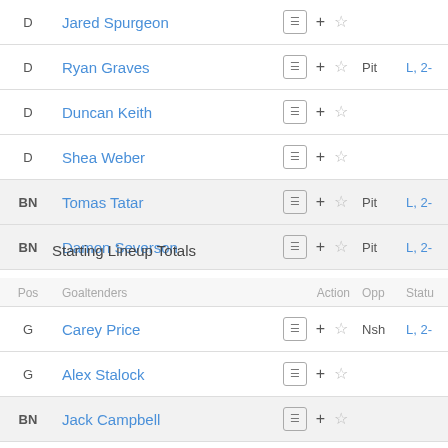| Pos | Defenders | Action | Opp | Status |
| --- | --- | --- | --- | --- |
| D | Jared Spurgeon | ⊞ + ☆ |  |  |
| D | Ryan Graves | ⊞ + ☆ | Pit | L, 2- |
| D | Duncan Keith | ⊞ + ☆ |  |  |
| D | Shea Weber | ⊞ + ☆ |  |  |
| BN | Tomas Tatar | ⊞ + ☆ | Pit | L, 2- |
| BN | Damon Severson | ⊞ + ☆ | Pit | L, 2- |
Starting Lineup Totals
| Pos | Goaltenders | Action | Opp | Status |
| --- | --- | --- | --- | --- |
| G | Carey Price | ⊞ + ☆ | Nsh | L, 2- |
| G | Alex Stalock | ⊞ + ☆ |  |  |
| BN | Jack Campbell | ⊞ + ☆ |  |  |